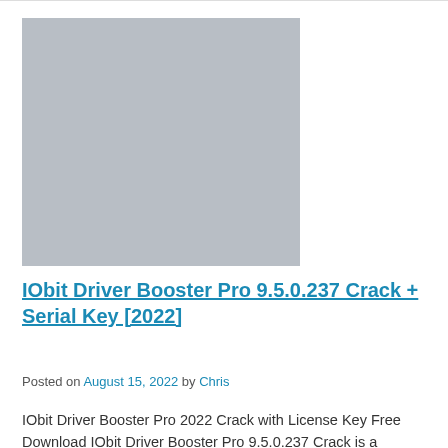[Figure (photo): Gray placeholder image for IObit Driver Booster Pro article]
IObit Driver Booster Pro 9.5.0.237 Crack + Serial Key [2022]
Posted on August 15, 2022 by Chris
IObit Driver Booster Pro 2022 Crack with License Key Free Download IObit Driver Booster Pro 9.5.0.237 Crack is a